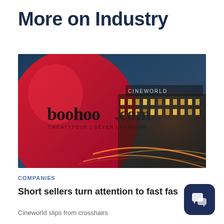More on Industry
[Figure (photo): Composite image showing boohoo.com branding logo (red balloon with boohoo.com text and 'TWENTYFOUR | SEVEN | FASHION' tagline) overlaid with a Cineworld cinema building exterior at night with illuminated signs]
COMPANIES
Short sellers turn attention to fast fas
Cineworld slips from crosshairs